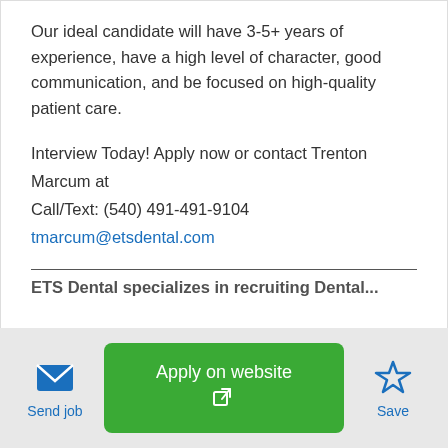Our ideal candidate will have 3-5+ years of experience, have a high level of character, good communication, and be focused on high-quality patient care.
Interview Today! Apply now or contact Trenton Marcum at
Call/Text: (540) 491-491-9104
tmarcum@etsdental.com
ETS Dental specializes in recruiting Dental...